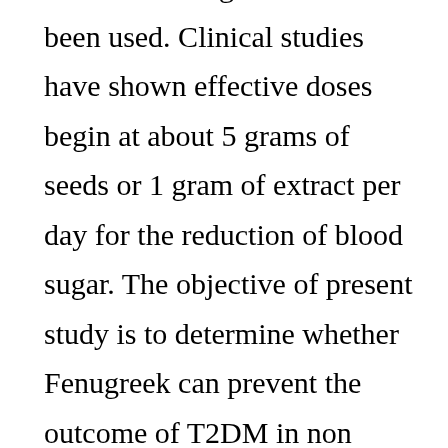extract of fenugreek seeds has been used. Clinical studies have shown effective doses begin at about 5 grams of seeds or 1 gram of extract per day for the reduction of blood sugar. The objective of present study is to determine whether Fenugreek can prevent the outcome of T2DM in non diabetic people with prediabetes. It definitely brings down the BS level. Fenugreek is generally considered safe, but overuse does have some effects on the body. But our changing lifestyle is turning